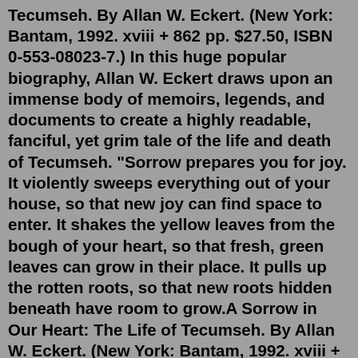Tecumseh. By Allan W. Eckert. (New York: Bantam, 1992. xviii + 862 pp. $27.50, ISBN 0-553-08023-7.) In this huge popular biography, Allan W. Eckert draws upon an immense body of memoirs, legends, and documents to create a highly readable, fanciful, yet grim tale of the life and death of Tecumseh. "Sorrow prepares you for joy. It violently sweeps everything out of your house, so that new joy can find space to enter. It shakes the yellow leaves from the bough of your heart, so that fresh, green leaves can grow in their place. It pulls up the rotten roots, so that new roots hidden beneath have room to grow.A Sorrow in Our Heart: The Life of Tecumseh. By Allan W. Eckert. (New York: Bantam, 1992. xviii + 862 pp. $27.50, ISBN -553-08023-7.) In this huge popular biography, Allan W. Eckert draws upon an immense body of memoirs, legends, and documents to create a highly readable, fanciful, yet grim tale of the life and death of Tecumseh. A Sorrow in ...Buy Sorrow in Our Heart: The Life of Tecumseh by Eckert, Allan W. (ISBN: 9780553561746) from Amazon's Book Store